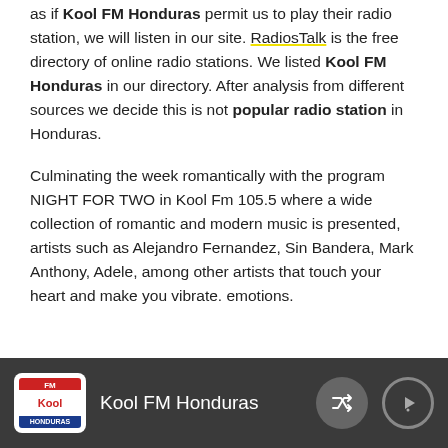as if Kool FM Honduras permit us to play their radio station, we will listen in our site. RadiosTalk is the free directory of online radio stations. We listed Kool FM Honduras in our directory. After analysis from different sources we decide this is not popular radio station in Honduras.
Culminating the week romantically with the program NIGHT FOR TWO in Kool Fm 105.5 where a wide collection of romantic and modern music is presented, artists such as Alejandro Fernandez, Sin Bandera, Mark Anthony, Adele, among other artists that touch your heart and make you vibrate. emotions.
Kool FM Honduras